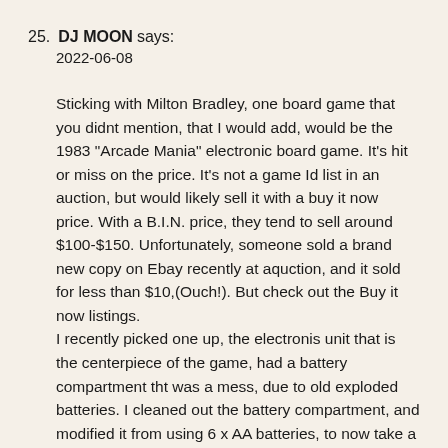25. DJ MOON says:
2022-06-08
Sticking with Milton Bradley, one board game that you didnt mention, that I would add, would be the 1983 "Arcade Mania" electronic board game. It's hit or miss on the price. It's not a game Id list in an auction, but would likely sell it with a buy it now price. With a B.I.N. price, they tend to sell around $100-$150. Unfortunately, someone sold a brand new copy on Ebay recently at aquction, and it sold for less than $10,(Ouch!). But check out the Buy it now listings.
I recently picked one up, the electronis unit that is the centerpiece of the game, had a battery compartment tht was a mess, due to old exploded batteries. I cleaned out the battery compartment, and modified it from using 6 x AA batteries, to now take a single 9-volt battery. Just because an item